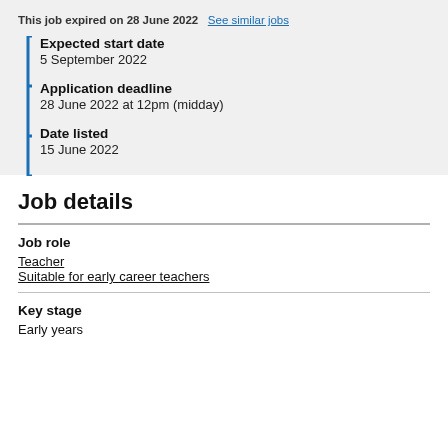This job expired on 28 June 2022  See similar jobs
Expected start date: 5 September 2022
Application deadline: 28 June 2022 at 12pm (midday)
Date listed: 15 June 2022
Job details
Job role
Teacher
Suitable for early career teachers
Key stage
Early years